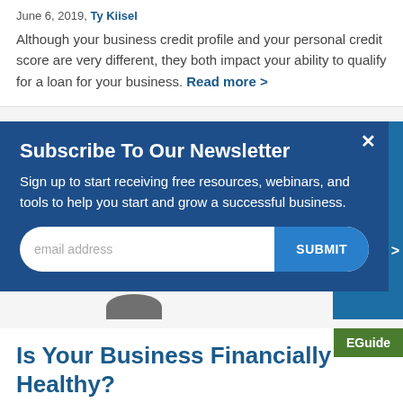June 6, 2019, Ty Kiisel
Although your business credit profile and your personal credit score are very different, they both impact your ability to qualify for a loan for your business. Read more >
Subscribe To Our Newsletter
Sign up to start receiving free resources, webinars, and tools to help you start and grow a successful business.
Is Your Business Financially Healthy?
[Figure (screenshot): Newsletter subscription modal with email input field and SUBMIT button on dark blue background, with a close X button in top right corner]